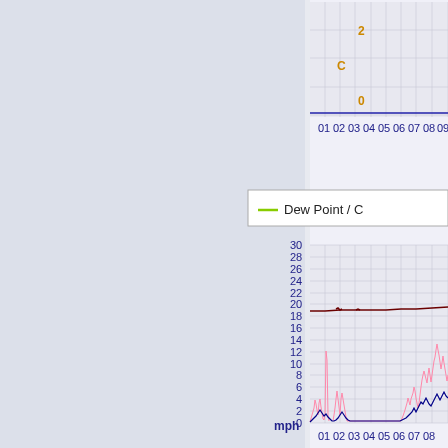[Figure (continuous-plot): Weather station chart showing two panels. Top panel shows a nearly flat line near 0-2°C on a scale from 0 to 2, with x-axis hours 01-09. Bottom panel shows temperature/dew point (dark red line near 19°C) and wind speed in mph (pink spiky line, blue line) on a scale from 0 to 30, x-axis hours 01-08. Legend shows 'Dew Point / C' in green.]